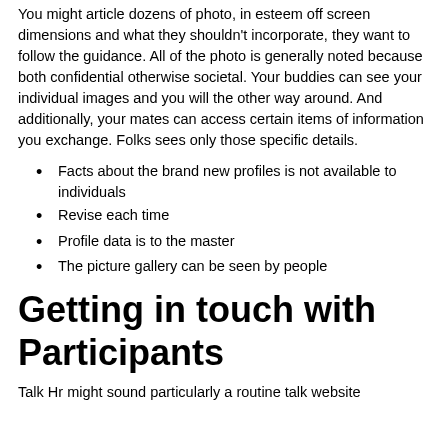You might article dozens of photo, in esteem off screen dimensions and what they shouldn't incorporate, they want to follow the guidance. All of the photo is generally noted because both confidential otherwise societal. Your buddies can see your individual images and you will the other way around. And additionally, your mates can access certain items of information you exchange. Folks sees only those specific details.
Facts about the brand new profiles is not available to individuals
Revise each time
Profile data is to the master
The picture gallery can be seen by people
Getting in touch with Participants
Talk Hr might sound particularly a routine talk website